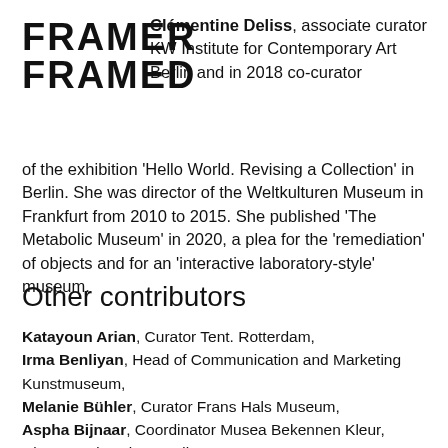[Figure (logo): FRAMER FRAMED logo in bold black block letters]
Clémentine Deliss, associate curator KW Institute for Contemporary Art Berlin and in 2018 co-curator of the exhibition 'Hello World. Revising a Collection' in Berlin. She was director of the Weltkulturen Museum in Frankfurt from 2010 to 2015. She published 'The Metabolic Museum' in 2020, a plea for the 'remediation' of objects and for an 'interactive laboratory-style' museum.
Other contributors
Katayoun Arian, Curator Tent. Rotterdam,
Irma Benliyan, Head of Communication and Marketing Kunstmuseum,
Melanie Bühler, Curator Frans Hals Museum,
Aspha Bijnaar, Coordinator Musea Bekennen Kleur, Director Education Studio,
Zippora Elders, Director Kunstfort, Vijfhuizen, co-